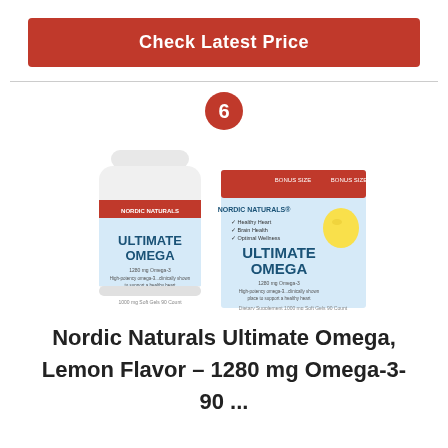Check Latest Price
6
[Figure (photo): Product photo of Nordic Naturals Ultimate Omega supplement bottle and box, Lemon Flavor, 1280 mg Omega-3, 90 count]
Nordic Naturals Ultimate Omega, Lemon Flavor – 1280 mg Omega-3- 90 ...